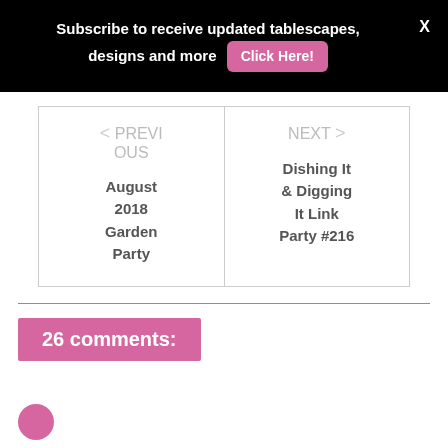Subscribe to receive updated tablescapes, designs and more  Click Here!  X
< PREVIOUS
August 2018 Garden Party
NEXT >
Dishing It & Digging It Link Party #216
26 comments: